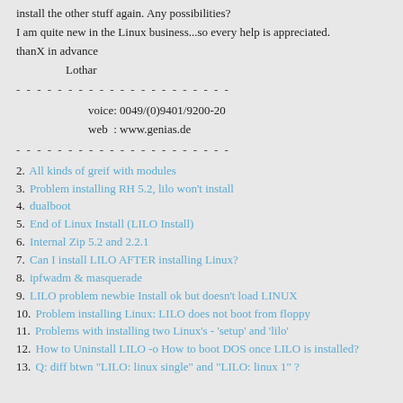install the other stuff again. Any possibilities?
I am quite new in the Linux business...so every help is appreciated.
thanX in advance
Lothar
- - - - - - - - - - - - - - - - - - - - -
voice: 0049/(0)9401/9200-20
web  : www.genias.de
- - - - - - - - - - - - - - - - - - - - -
2. All kinds of greif with modules
3. Problem installing RH 5.2, lilo won't install
4. dualboot
5. End of Linux Install (LILO Install)
6. Internal Zip 5.2 and 2.2.1
7. Can I install LILO AFTER installing Linux?
8. ipfwadm & masquerade
9. LILO problem newbie Install ok but doesn't load LINUX
10. Problem installing Linux: LILO does not boot from floppy
11. Problems with installing two Linux's - 'setup' and 'lilo'
12. How to Uninstall LILO -o How to boot DOS once LILO is installed?
13. Q: diff btwn "LILO: linux single" and "LILO: linux 1" ?